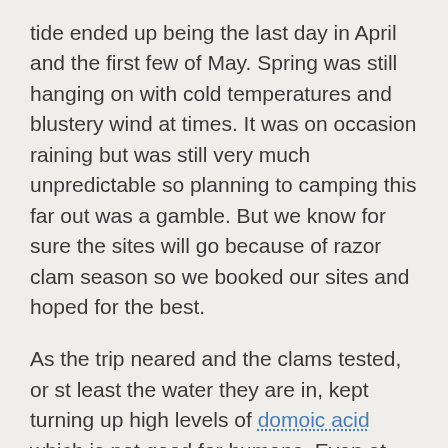tide ended up being the last day in April and the first few of May. Spring was still hanging on with cold temperatures and blustery wind at times. It was on occasion raining but was still very much unpredictable so planning to camping this far out was a gamble. But we know for sure the sites will go because of razor clam season so we booked our sites and hoped for the best.
As the trip neared and the clams tested, or st least the water they are in, kept turning up high levels of domoic acid which is not good for humans. Even at low levels over long periods of time is harmful. So unless the Washington Department of Fish and Wildlife say they are ok to consume I won't touch them. Just not worth the risk. This trip we couldn't do any digging but it worked out. All weekend the weather was